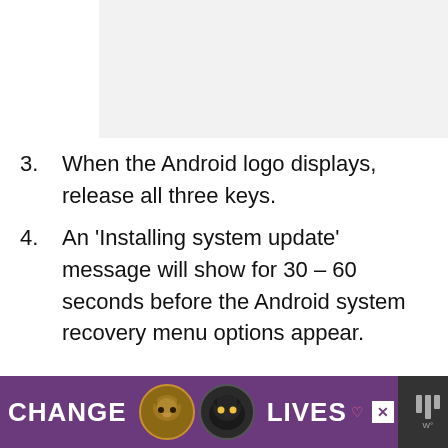[Figure (other): Screenshot or image placeholder with light gray background in upper right portion of page]
3. When the Android logo displays, release all three keys.
4. An 'Installing system update' message will show for 30 – 60 seconds before the Android system recovery menu options appear.
[Figure (other): Advertisement banner: CHANGE LIVES with two cat images, purple background]